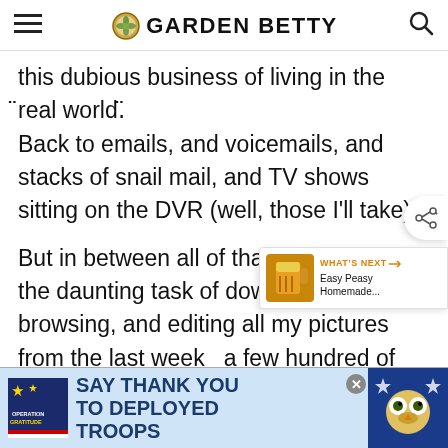GARDEN BETTY
this dubious business of living in the "real world." Back to emails, and voicemails, and stacks of snail mail, and TV shows sitting on the DVR (well, those I'll take).
But in between all of that, I'm starting the daunting task of downloading, browsing, and editing all my pictures from the last week  a few hundred of them off my camera and t  camera, from our entry trailhead at May Lake in the  ailhead.
[Figure (screenshot): Advertisement banner: Operation Gratitude - Say Thank You To Deployed Troops, with patriotic imagery and a close button.]